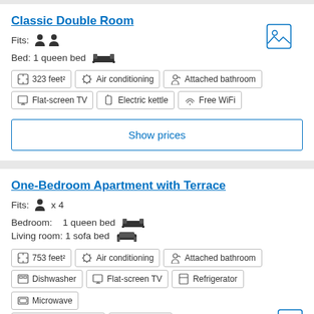Classic Double Room
Fits: 2 persons
Bed: 1 queen bed
323 feet²
Air conditioning
Attached bathroom
Flat-screen TV
Electric kettle
Free WiFi
Show prices
One-Bedroom Apartment with Terrace
Fits: 1 person x 4
Bedroom: 1 queen bed
Living room: 1 sofa bed
753 feet²
Air conditioning
Attached bathroom
Dishwasher
Flat-screen TV
Refrigerator
Microwave
Tea/Coffee maker
Free WiFi